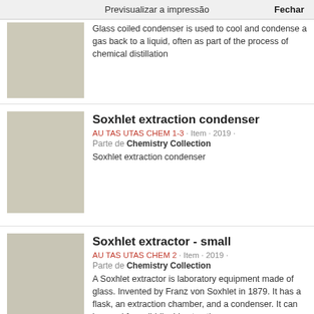Previsualizar a impressão   Fechar
Glass coiled condenser is used to cool and condense a gas back to a liquid, often as part of the process of chemical distillation
Soxhlet extraction condenser
AU TAS UTAS CHEM 1-3 · Item · 2019 · Parte de Chemistry Collection
Soxhlet extraction condenser
Soxhlet extractor - small
AU TAS UTAS CHEM 2 · Item · 2019 · Parte de Chemistry Collection
A Soxhlet extractor is laboratory equipment made of glass. Invented by Franz von Soxhlet in 1879. It has a flask, an extraction chamber, and a condenser. It can be used for solid-liquid extractions.
Thistle funnel - straight
AU TAS UTAS CHEM 4 · Item · 2019 ·